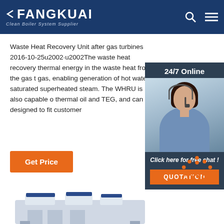FANGKUAI — Clean Boiler System Supplier
Waste Heat Recovery Unit after gas turbines 2016-10-25u2002·u2002The waste heat recovery thermal energy in the waste heat from the gas t gas, enabling generation of hot water, saturated superheated steam. The WHRU is also capable o thermal oil and TEG, and can be designed to fit customer
[Figure (photo): Customer support representative with headset, 24/7 Online chat widget with orange QUOTATION button]
Get Price
[Figure (other): TOP navigation button with orange dots above orange TOP text]
[Figure (photo): Industrial boiler or waste heat recovery unit equipment at the bottom of the page]